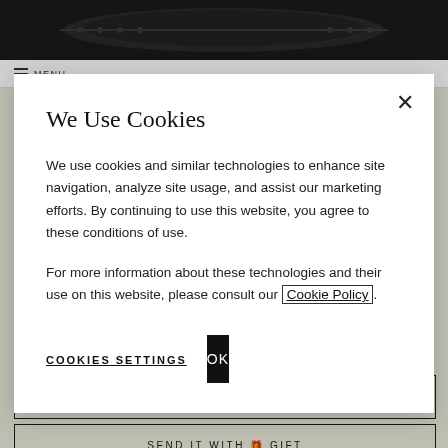[Figure (screenshot): Background website page showing a luxury handbag e-commerce site with dark product image at top, navigation bar, price area, and shopping buttons]
We Use Cookies
We use cookies and similar technologies to enhance site navigation, analyze site usage, and assist our marketing efforts. By continuing to use this website, you agree to these conditions of use.
For more information about these technologies and their use on this website, please consult our Cookie Policy.
COOKIES SETTINGS
OK